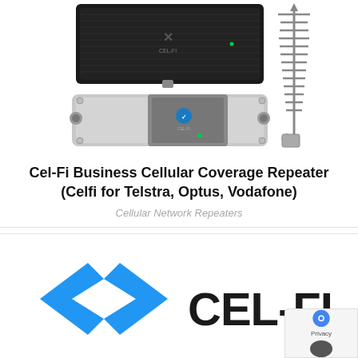[Figure (photo): Product photo showing two Cel-Fi cellular repeater units (a black wall-mount unit and a silver horizontal unit) alongside a Yagi antenna on the right side]
Cel-Fi Business Cellular Coverage Repeater (Celfi for Telstra, Optus, Vodafone)
Cellular Network Repeaters
[Figure (logo): Cel-Fi brand logo with a blue X arrow symbol on the left and CEL-FI. text in bold dark letters on the right, with a reCAPTCHA privacy badge partially overlapping the bottom right corner]